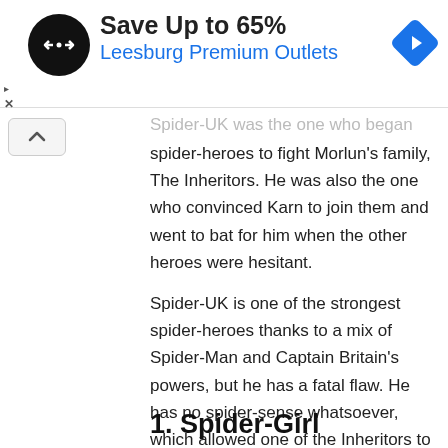[Figure (infographic): Advertisement banner for Leesburg Premium Outlets with a black circular logo with arrow icons, text 'Save Up to 65%' and 'Leesburg Premium Outlets' in blue, and a blue diamond navigation icon on the right.]
Spider-UK was the one who began gathering spider-heroes to fight Morlun's family, The Inheritors. He was also the one who convinced Karn to join them and went to bat for him when the other heroes were hesitant.
Spider-UK is one of the strongest spider-heroes thanks to a mix of Spider-Man and Captain Britain's powers, but he has a fatal flaw. He has no spider-sense whatsoever, which allowed one of the Inheritors to sneak up on him and break his neck.
1. Spider-Girl